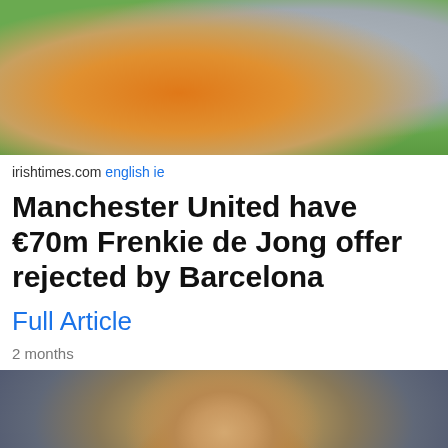[Figure (photo): Soccer players in action, one in orange Dutch national team kit, another in white/grey kit, on a green pitch]
irishtimes.com english ie
Manchester United have €70m Frenkie de Jong offer rejected by Barcelona
Full Article
2 months
[Figure (photo): Close-up photo of Frenkie de Jong smiling, wearing an orange Netherlands national team jersey]